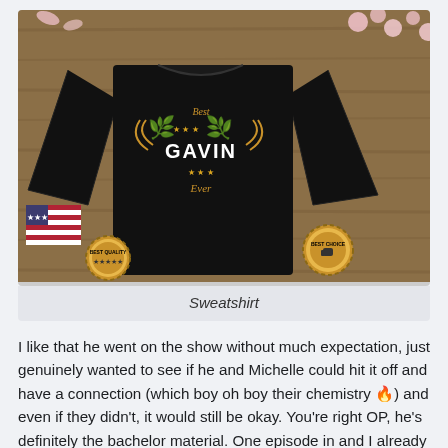[Figure (photo): Product photo of a black long-sleeve sweatshirt with 'Best GAVIN Ever' text inside a gold laurel wreath with stars, displayed on a wooden surface with floral decorations. Two gold badges visible: 'Best Quality' and 'Best Choice'.]
Sweatshirt
I like that he went on the show without much expectation, just genuinely wanted to see if he and Michelle could hit it off and have a connection (which boy oh boy their chemistry 🔥) and even if they didn't, it would still be okay. You're right OP, he's definitely the bachelor material. One episode in and I already see how smitten they're with each other.Best Gavin Ever Funny Saying First Name Gavin T-Shirt Rooting for Naychelle so hard